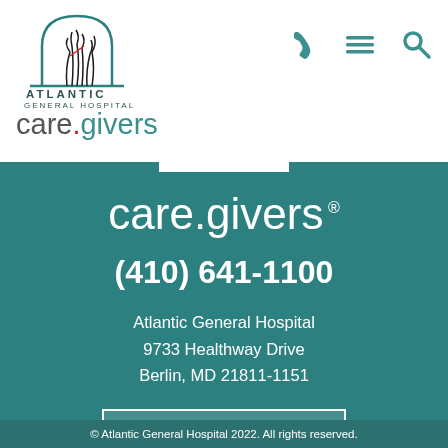[Figure (logo): Atlantic General Hospital logo with arc/arch design and grass/reeds graphic, with text ATLANTIC GENERAL HOSPITAL below]
care.givers
[Figure (other): Navigation icons: phone, hamburger menu, and search icons in teal]
care.givers ®
(410) 641-1100
Atlantic General Hospital
9733 Healthway Drive
Berlin, MD 21811-1151
Map + Directions
© Atlantic General Hospital 2022. All rights reserved.